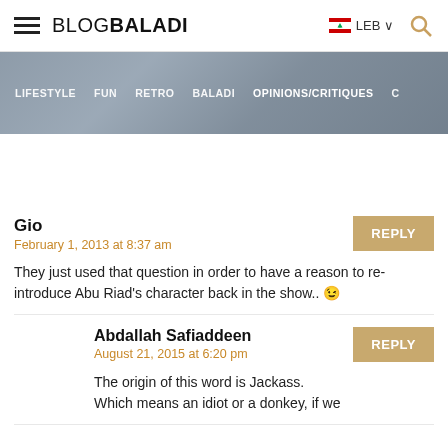BLOGBALADI | LEB | search
[Figure (screenshot): Navigation bar with background image showing people and menu items: LIFESTYLE, FUN, RETRO, BALADI, OPINIONS/CRITIQUES]
Gio
February 1, 2013 at 8:37 am
They just used that question in order to have a reason to re-introduce Abu Riad's character back in the show.. 😉
Abdallah Safiaddeen
August 21, 2015 at 6:20 pm
The origin of this word is Jackass.
Which means an idiot or a donkey, if we